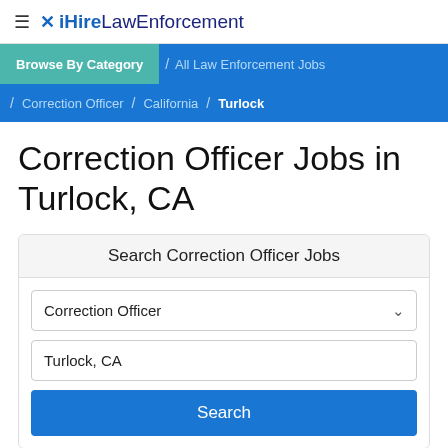≡ iHireLawEnforcement
Browse By Category / All Law Enforcement Jobs / Correction Officer / California / Turlock
Correction Officer Jobs in Turlock, CA
Search Correction Officer Jobs
Correction Officer
Turlock, CA
Search